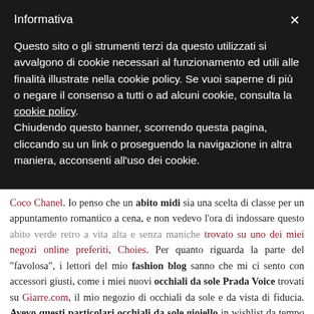Informativa
Questo sito o gli strumenti terzi da questo utilizzati si avvalgono di cookie necessari al funzionamento ed utili alle finalità illustrate nella cookie policy. Se vuoi saperne di più o negare il consenso a tutti o ad alcuni cookie, consulta la cookie policy.
Chiudendo questo banner, scorrendo questa pagina, cliccando su un link o proseguendo la navigazione in altra maniera, acconsenti all'uso dei cookie.
Coco Chanel. Io penso che un abito midi sia una scelta di classe per un appuntamento romantico a cena, e non vedevo l'ora di indossare questo abito verde retro a vita alta e senza maniche trovato su uno dei miei negozi online preferiti, Choies. Per quanto riguarda la parte del "favolosa", i lettori del mio fashion blog sanno che mi ci sento con accessori giusti, come i miei nuovi occhiali da sole Prada Voice trovati su Giarre.com, il mio negozio di occhiali da sole e da vista di fiducia. Avevo questi particolari occhiali da sole gioiello in wishlist da tempo e sono finalmente miei !. Una cena speciale richiedeva anche scarpe speciali, e io ho optato per sandali con cinturino alla caviglia Le Silla, in un neutro color tortora, sia classici che moderni proprio come la borsa